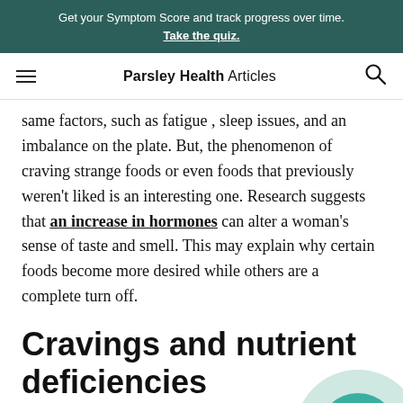Get your Symptom Score and track progress over time. Take the quiz.
Parsley Health Articles
same factors, such as fatigue , sleep issues, and an imbalance on the plate. But, the phenomenon of craving strange foods or even foods that previously weren't liked is an interesting one. Research suggests that an increase in hormones can alter a woman's sense of taste and smell. This may explain why certain foods become more desired while others are a complete turn off.
Cravings and nutrient deficiencies
You've probably heard that certain cravings can sign of specific nutrient deficiencies, such as chocolate